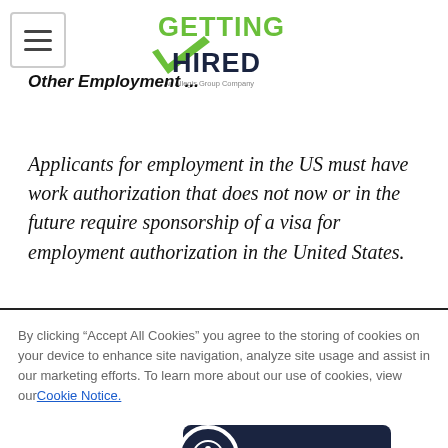Getting Hired - An Allegis Group Company
Other Employment ...
Applicants for employment in the US must have work authorization that does not now or in the future require sponsorship of a visa for employment authorization in the United States.
By clicking “Accept All Cookies” you agree to the storing of cookies on your device to enhance site navigation, analyze site usage and assist in our marketing efforts. To learn more about our use of cookies, view our Cookie Notice.
Cookie Settings
Accept All Cookies